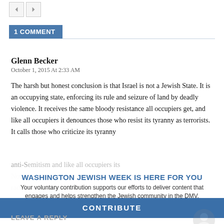1 COMMENT
Glenn Becker
October 1, 2015 At 2:33 AM
The harsh but honest conclusion is that Israel is not a Jewish State. It is an occupying state, enforcing its rule and seizure of land by deadly violence. It receives the same bloody resistance all occupiers get, and like all occupiers it denounces those who resist its tyranny as terrorists. It calls those who criticize its tyranny
WASHINGTON JEWISH WEEK IS HERE FOR YOU
Your voluntary contribution supports our efforts to deliver content that engages and helps strengthen the Jewish community in the DMV.
CONTRIBUTE
LEAVE A REPLY